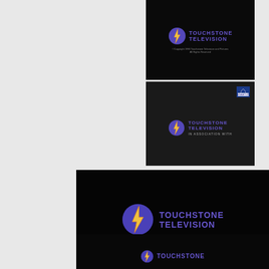[Figure (screenshot): Touchstone Television logo on black background with copyright text]
[Figure (screenshot): Dark background with small Paramount logo in top right, and Touchstone Television logo with IN ASSOCIATION WITH text]
[Figure (screenshot): Touchstone Television logo on black background, larger version]
[Figure (screenshot): Partial Touchstone Television logo on black background at bottom]